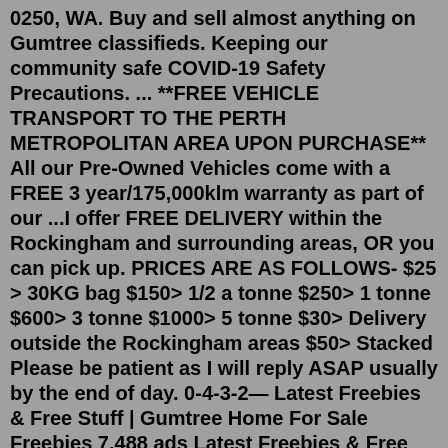0250, WA. Buy and sell almost anything on Gumtree classifieds. Keeping our community safe COVID-19 Safety Precautions. ... **FREE VEHICLE TRANSPORT TO THE PERTH METROPOLITAN AREA UPON PURCHASE** All our Pre-Owned Vehicles come with a FREE 3 year/175,000klm warranty as part of our ...I offer FREE DELIVERY within the Rockingham and surrounding areas, OR you can pick up. PRICES ARE AS FOLLOWS- $25 > 30KG bag $150> 1/2 a tonne $250> 1 tonne $600> 3 tonne $1000> 5 tonne $30> Delivery outside the Rockingham areas $50> Stacked Please be patient as I will reply ASAP usually by the end of day. 0-4-3-2— Latest Freebies & Free Stuff | Gumtree Home For Sale Freebies 7,488 ads Latest Freebies & Free Stuff Set search alert Featured 5 Free buyer to collect Ilkeston, Derbyshire 3 piece suite solid oak frame display units and bar stool all free 2 days ago Featured 1 Free Modern 2 seater Grey velour Sofa. Trowbridge, Wiltshire0401 525 117 Get a FREE Quote. Home; About Us; Services; Contact; Slide. ...